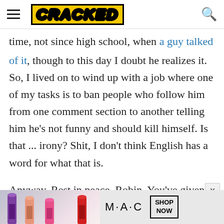CRACKED
time, not since high school, when a guy talked me out of it, though to this day I doubt he realizes it. So, I lived on to wind up with a job where one of my tasks is to ban people who follow him from one comment section to another telling him he's not funny and should kill himself. Is that ... irony? Shit, I don't think English has a word for what that is.

Anyway. Rest in peace, Robin. You've given us a chance to talk about this, and to prove that this has
[Figure (advertisement): MAC cosmetics advertisement showing lipsticks with SHOP NOW button]